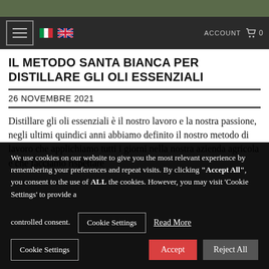[Figure (screenshot): Top image strip showing a dark green/olive background, part of a webpage header]
IL METODO SANTA BIANCA PER DISTILLARE GLI OLI ESSENZIALI — navigation bar with hamburger menu, Italian and UK flags, ACCOUNT, cart icon and 0
IL METODO SANTA BIANCA PER DISTILLARE GLI OLI ESSENZIALI
26 NOVEMBRE 2021
Distillare gli oli essenziali è il nostro lavoro e la nostra passione, negli ultimi quindici anni abbiamo definito il nostro metodo di lavoro che applichiamo tutti i giorni nella nostra azienda agricola e che facciamo rispettare
We use cookies on our website to give you the most relevant experience by remembering your preferences and repeat visits. By clicking "Accept All", you consent to the use of ALL the cookies. However, you may visit 'Cookie Settings' to provide a controlled consent.